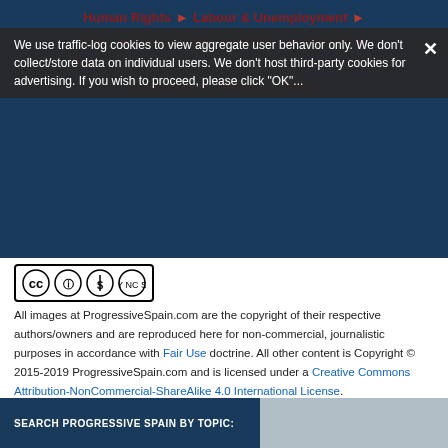Human Rights ► Labour & Unemployment ► LGBT ► Peace & War ► Politics ► Poverty ► Refugees & Migration ► Takedowns & Satire ► Enterprise ► Women's Rights
We use traffic-log cookies to view aggregate user behavior only. We don't collect/store data on individual users. We don't host third-party cookies for advertising. If you wish to proceed, please click "OK"...
[Figure (logo): Creative Commons CC BY NC SA logo]
All images at ProgressiveSpain.com are the copyright of their respective authors/owners and are reproduced here for non-commercial, journalistic purposes in accordance with Fair Use doctrine. All other content is Copyright © 2015-2019 ProgressiveSpain.com and is licensed under a Creative Commons Attribution-NonCommercial-ShareAlike 4.0 International License.
Share now:
[Figure (infographic): Social share buttons: Twitter, Facebook, LinkedIn, WhatsApp, Telegram, Line, Email, Print, More]
SEARCH PROGRESSIVE SPAIN BY TOPIC: